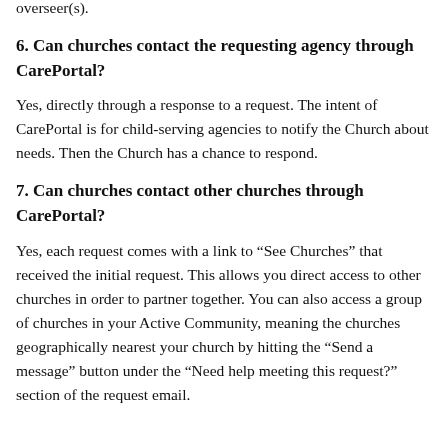behavioral accountability to the leadership authority(ies) of the local fellowship, whether pastor(s), priest(s), elder(s), or other overseer(s).
6. Can churches contact the requesting agency through CarePortal?
Yes, directly through a response to a request. The intent of CarePortal is for child-serving agencies to notify the Church about needs. Then the Church has a chance to respond.
7. Can churches contact other churches through CarePortal?
Yes, each request comes with a link to “See Churches” that received the initial request. This allows you direct access to other churches in order to partner together. You can also access a group of churches in your Active Community, meaning the churches geographically nearest your church by hitting the “Send a message” button under the “Need help meeting this request?” section of the request email.